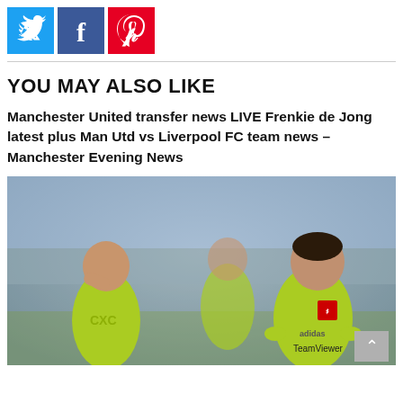[Figure (other): Social share buttons: Twitter (light blue), Facebook (blue), Pinterest (red)]
YOU MAY ALSO LIKE
Manchester United transfer news LIVE Frenkie de Jong latest plus Man Utd vs Liverpool FC team news – Manchester Evening News
[Figure (photo): Photo of Manchester United players in green/yellow training kit, looking dejected. Cristiano Ronaldo visible on right wearing TeamViewer-sponsored shirt.]